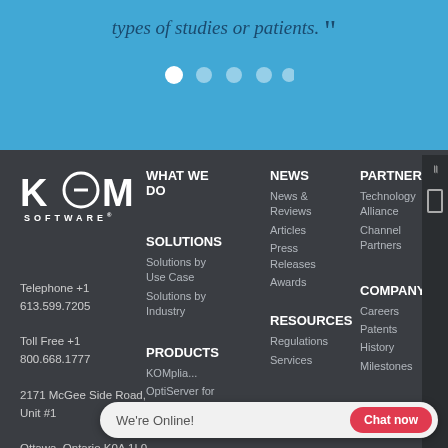types of studies or patients. "
[Figure (infographic): Carousel navigation dots — 5 dots, first one filled white (active), remaining semi-transparent]
[Figure (logo): KOM Software logo — white text on dark background]
Telephone +1 613.599.7205
Toll Free +1 800.668.1777
2171 McGee Side Road, Unit #1
Ottawa, Ontario K0A 1L0
Canada
sales@komsoftware.com
WHAT WE DO
SOLUTIONS
Solutions by Use Case
Solutions by Industry
PRODUCTS
KOMplian...
OptiServer for...
NEWS
News & Reviews
Articles
Press Releases
Awards
RESOURCES
Regulations
Services
PARTNERS
Technology Alliance
Channel Partners
COMPANY
Careers
Patents
History
Milestones
We're Online!   Chat now